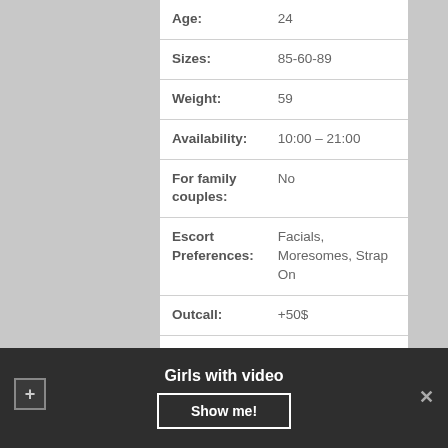| Field | Value |
| --- | --- |
| Age: | 24 |
| Sizes: | 85-60-89 |
| Weight: | 59 |
| Availability: | 10:00 – 21:00 |
| For family couples: | No |
| Escort Preferences: | Facials, Moresomes, Strap On |
| Outcall: | +50$ |
| 30 min: | 130Doll |
| NIGHT: | 410$ |
| Nationality: | Brazilian |
Girls with video
Show me!